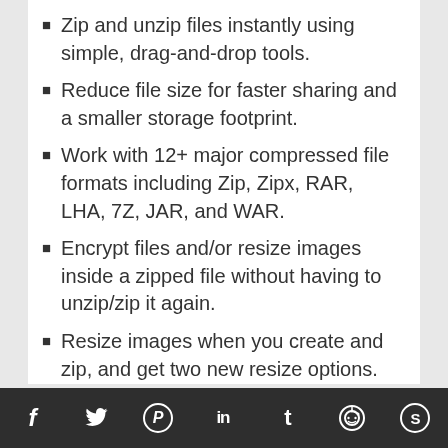Zip and unzip files instantly using simple, drag-and-drop tools.
Reduce file size for faster sharing and a smaller storage footprint.
Work with 12+ major compressed file formats including Zip, Zipx, RAR, LHA, 7Z, JAR, and WAR.
Encrypt files and/or resize images inside a zipped file without having to unzip/zip it again.
Resize images when you create and zip, and get two new resize options.
Zip or unzip files to any folder in a flash—right from the NEW Files pane!
Encrypt
Social share bar: Facebook, Twitter, Pinterest, LinkedIn, Tumblr, Reddit, Skype